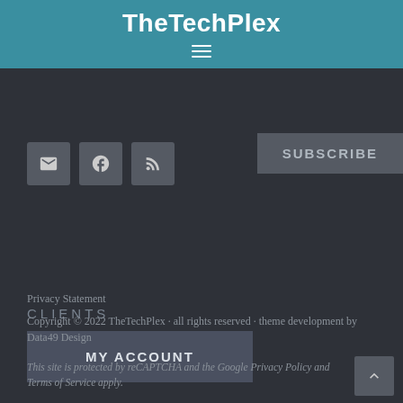TheTechPlex
SUBSCRIBE
[Figure (other): Social media icons: email, Facebook, RSS feed]
CLIENTS
MY ACCOUNT
Privacy Statement
Copyright © 2022 TheTechPlex · all rights reserved · theme development by Data49 Design
This site is protected by reCAPTCHA and the Google Privacy Policy and Terms of Service apply.